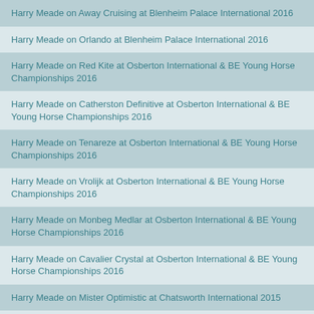Harry Meade on Away Cruising at Blenheim Palace International 2016
Harry Meade on Orlando at Blenheim Palace International 2016
Harry Meade on Red Kite at Osberton International & BE Young Horse Championships 2016
Harry Meade on Catherston Definitive at Osberton International & BE Young Horse Championships 2016
Harry Meade on Tenareze at Osberton International & BE Young Horse Championships 2016
Harry Meade on Vrolijk at Osberton International & BE Young Horse Championships 2016
Harry Meade on Monbeg Medlar at Osberton International & BE Young Horse Championships 2016
Harry Meade on Cavalier Crystal at Osberton International & BE Young Horse Championships 2016
Harry Meade on Mister Optimistic at Chatsworth International 2015
Harry Meade on Catherston Definitive at Chatsworth International 2015
Harry Meade on Tenareze (hc) at Chatsworth International 2015
Harry Meade on Cavalier Crystal at Belton Park International 2017
Harry Meade on Catherston Definitive at Belton Park International 2017